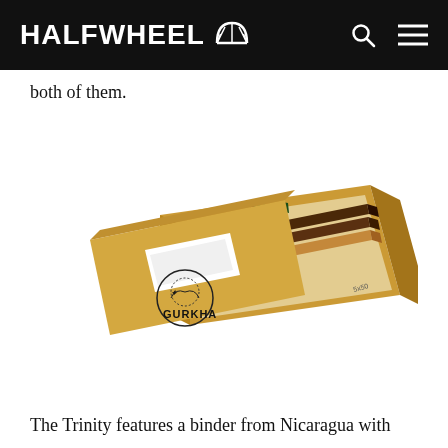HALFWHEEL
both of them.
[Figure (photo): A Gurkha cigar box (kraft brown cardboard) with lid partially open, showing three cigars with green branded bands inside the box. The box lid has a rectangular cutout window and a Gurkha logo with angel/warrior figure. The box side reads 5x50.]
The Trinity features a binder from Nicaragua with